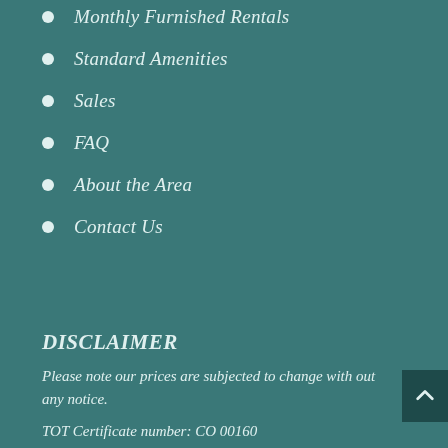Monthly Furnished Rentals
Standard Amenities
Sales
FAQ
About the Area
Contact Us
DISCLAIMER
Please note our prices are subjected to change with out any notice.
TOT Certificate number: CO 00160
Randy Maldonado/Broker BRE #01109696